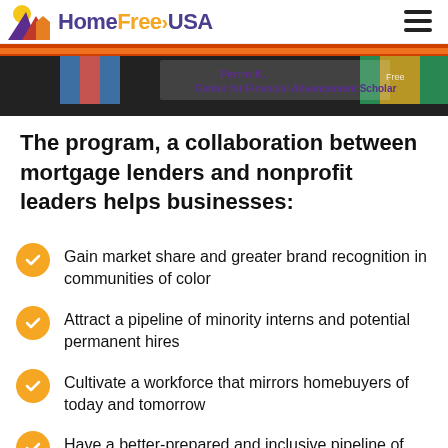[Figure (logo): HomeFree USA logo with house/sun icon and text 'HomeFree USA']
[Figure (photo): Banner photo showing 'Perrin K. Center for Financial Advancement Scholar' text overlay on a group photo with HomeFree USA branding]
The program, a collaboration between mortgage lenders and nonprofit leaders helps businesses:
Gain market share and greater brand recognition in communities of color
Attract a pipeline of minority interns and potential permanent hires
Cultivate a workforce that mirrors homebuyers of today and tomorrow
Have a better-prepared and inclusive pipeline of